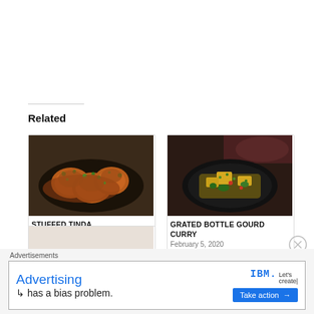Related
[Figure (photo): Food photo of Stuffed Tinda dish in a pan with tomato gravy and garnished with coriander]
STUFFED TINDA
August 12, 2016
In "Curry / Vegetables"
[Figure (photo): Food photo of Grated Bottle Gourd Curry in a black pan with vegetables]
GRATED BOTTLE GOURD CURRY
February 5, 2020
In "Curry / Vegetables"
[Figure (photo): Partial food photo of a curry dish in a bowl]
Advertisements
[Figure (screenshot): IBM advertisement banner: 'Advertising has a bias problem.' with IBM logo and 'Take action' button]